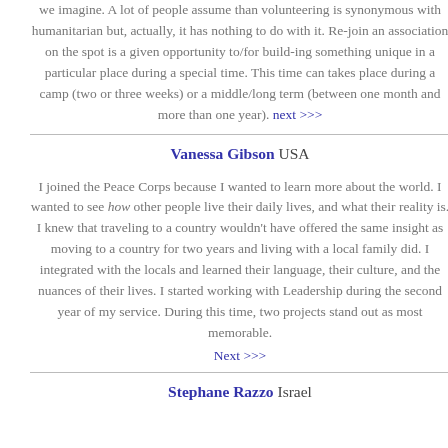we imagine. A lot of people assume than volunteering is synonymous with humanitarian but, actually, it has nothing to do with it. Re-join an association on the spot is a given opportunity to/for build-ing something unique in a particular place during a special time. This time can takes place during a camp (two or three weeks) or a middle/long term (between one month and more than one year). next >>>
Vanessa Gibson USA
I joined the Peace Corps because I wanted to learn more about the world. I wanted to see how other people live their daily lives, and what their reality is. I knew that traveling to a country wouldn't have offered the same insight as moving to a country for two years and living with a local family did. I integrated with the locals and learned their language, their culture, and the nuances of their lives. I started working with Leadership during the second year of my service. During this time, two projects stand out as most memorable.
Next >>>
Stephane Razzo Israel